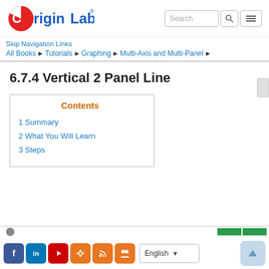OriginLab
Skip Navigation Links
All Books ▶ Tutorials ▶ Graphing ▶ Multi-Axis and Multi-Panel ▶
6.7.4 Vertical 2 Panel Line
Contents
1 Summary
2 What You Will Learn
3 Steps
Facebook LinkedIn YouTube Settings RSS Group | English | ↑